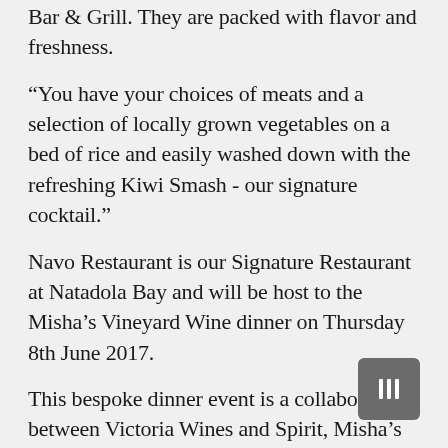Bar & Grill. They are packed with flavor and freshness.
“You have your choices of meats and a selection of locally grown vegetables on a bed of rice and easily washed down with the refreshing Kiwi Smash - our signature cocktail.”
Navo Restaurant is our Signature Restaurant at Natadola Bay and will be host to the Misha’s Vineyard Wine dinner on Thursday 8th June 2017.
This bespoke dinner event is a collaboration between Victoria Wines and Spirit, Misha’s Vineyard of Central Otago, New Zealand, and Navo Restaurant.